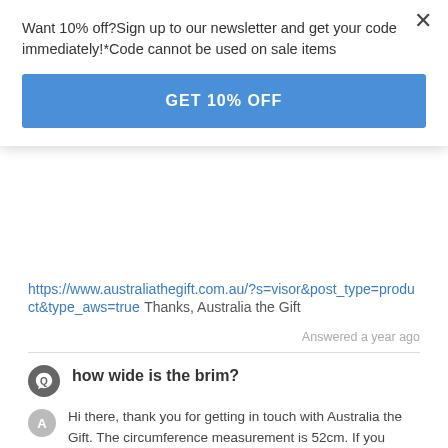Want 10% off?Sign up to our newsletter and get your code immediately!*Code cannot be used on sale items
GET 10% OFF
https://www.australiathegift.com.au/?s=visor&post_type=product&type_aws=true Thanks, Australia the Gift
Answered a year ago
how wide is the brim?
Hi there, thank you for getting in touch with Australia the Gift. The circumference measurement is 52cm. If you require any further assistance please let me know and I will be happy to help. Kind regards, Online Team
Answered 2 years ago
Powered by